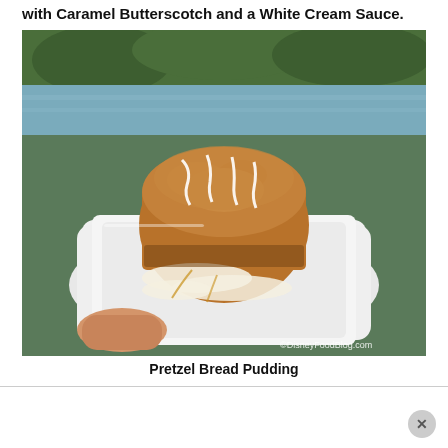with Caramel Butterscotch and a White Cream Sauce.
[Figure (photo): A pretzel bread pudding on a white square plate, drizzled with white cream sauce and caramel butterscotch sauce, held by a hand outdoors near water. Watermark reads ©DisneyFoodBlog.com]
Pretzel Bread Pudding